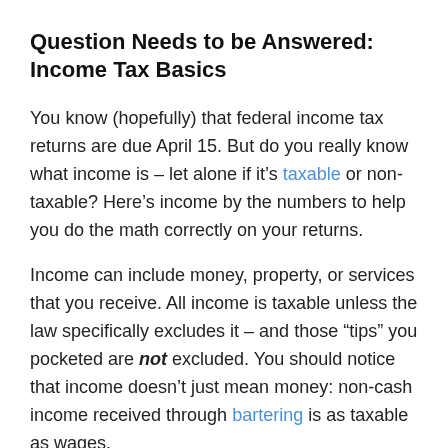Question Needs to be Answered: Income Tax Basics
You know (hopefully) that federal income tax returns are due April 15. But do you really know what income is – let alone if it’s taxable or non-taxable? Here’s income by the numbers to help you do the math correctly on your returns.
Income can include money, property, or services that you receive. All income is taxable unless the law specifically excludes it – and those “tips” you pocketed are not excluded. You should notice that income doesn’t just mean money: non-cash income received through bartering is as taxable as wages,